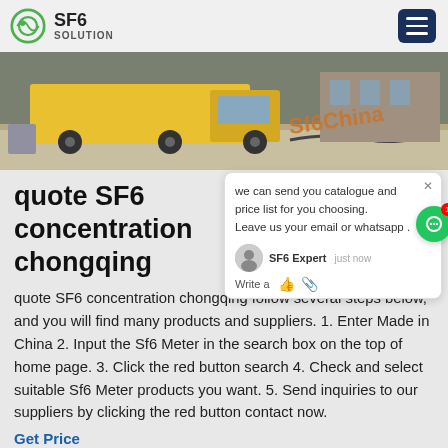SF6 SOLUTION
[Figure (photo): Hero banner showing a yellow truck and industrial equipment outdoors, with 'Sf6China' watermark text in orange]
quote SF6 concentration chongqing
quote SF6 concentration chongqing follow several steps below, and you will find many products and suppliers. 1. Enter Made in China 2. Input the Sf6 Meter in the search box on the top of home page. 3. Click the red button search 4. Check and select suitable Sf6 Meter products you want. 5. Send inquiries to our suppliers by clicking the red button contact now.
Get Price